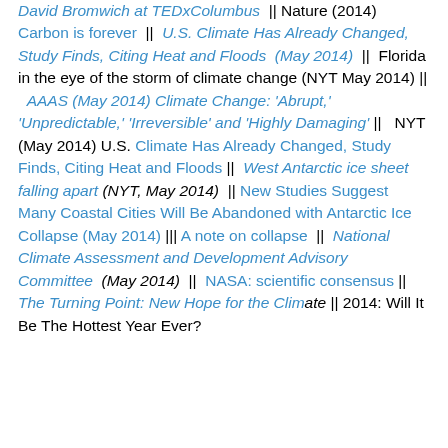David Bromwich at TEDxColumbus || Nature (2014) Carbon is forever || U.S. Climate Has Already Changed, Study Finds, Citing Heat and Floods (May 2014) || Florida in the eye of the storm of climate change (NYT May 2014) || AAAS (May 2014) Climate Change: 'Abrupt,' 'Unpredictable,' 'Irreversible' and 'Highly Damaging' || NYT (May 2014) U.S. Climate Has Already Changed, Study Finds, Citing Heat and Floods || West Antarctic ice sheet falling apart (NYT, May 2014) || New Studies Suggest Many Coastal Cities Will Be Abandoned with Antarctic Ice Collapse (May 2014) ||| A note on collapse || National Climate Assessment and Development Advisory Committee (May 2014) || NASA: scientific consensus || The Turning Point: New Hope for the Climate || 2014: Will It Be The Hottest Year Ever?